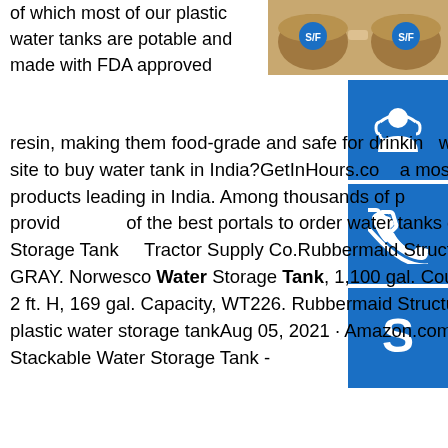[Figure (photo): Two brown plastic water tanks with S/F logos on them, shown from above]
[Figure (infographic): Blue sidebar with three icons: customer support headset icon, phone call icon, and Skype icon]
of which most of our plastic water tanks are potable and made with FDA approved resin, making them food-grade and safe for drinking water.See all results for this questionsp.info Which best site to buy water tank in India?GetInHours.com a most prominent online shopping portal with a large of products leading in India. Among thousands of products and more than a hundred categories, we are providing one of the best portals to order water tanks online.See all results for this questionsp.info Water Storage Tanks - Tractor Supply Co.Rubbermaid Structural Foam Stock Tanks, 300 gal. Capacity, 4247-00-GRAY. Norwesco Water Storage Tank, 1,100 gal. CountyLine Oval Galvanized Stock Tank, 2 ft. W x 6 ft. L x 2 ft. H, 169 gal. Capacity, WT226. Rubbermaid Structural Foam Stock Tanks, 150 gal.sp.info Amazon.com: plastic water storage tankAug 05, 2021 · Amazon.com: plastic water storage tankSmart Tank 50 Gallon Stackable Water Storage Tank - BPA Free Made in the USA...